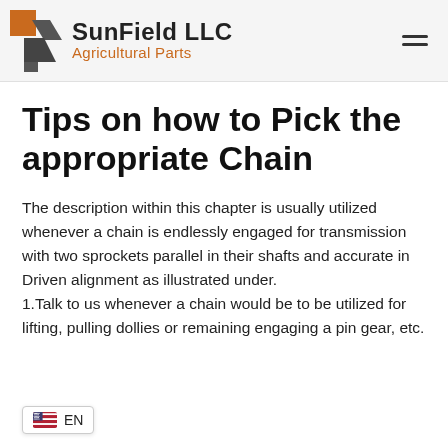SunField LLC Agricultural Parts
Tips on how to Pick the appropriate Chain
The description within this chapter is usually utilized whenever a chain is endlessly engaged for transmission with two sprockets parallel in their shafts and accurate in Driven alignment as illustrated under.
1.Talk to us whenever a chain would be to be utilized for lifting, pulling dollies or remaining engaging a pin gear, etc.